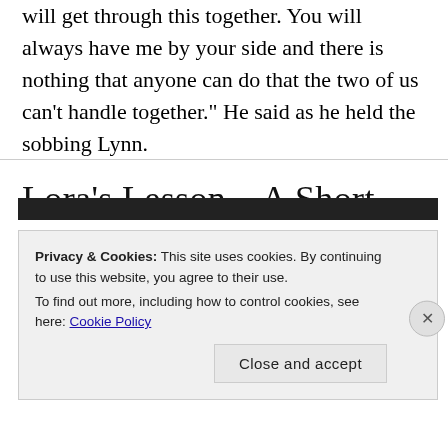will get through this together. You will always have me by your side and there is nothing that anyone can do that the two of us can't handle together." He said as he held the sobbing Lynn.
Lora's Lesson – A Short
Privacy & Cookies: This site uses cookies. By continuing to use this website, you agree to their use.
To find out more, including how to control cookies, see here: Cookie Policy
Close and accept